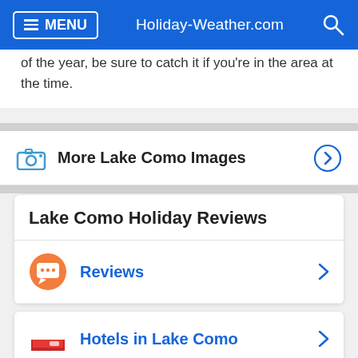MENU  Holiday-Weather.com  🔍
of the year, be sure to catch it if you're in the area at the time.
More Lake Como Images
Lake Como Holiday Reviews
Reviews
Hotels in Lake Como